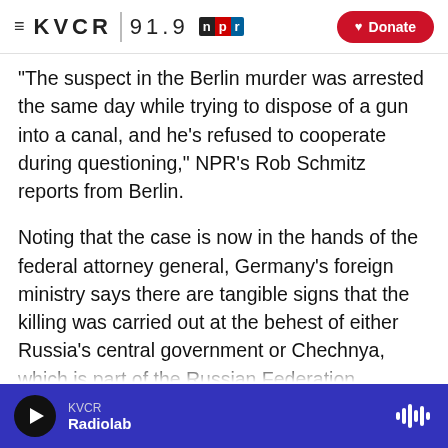KVCR 91.9 NPR | Donate
"The suspect in the Berlin murder was arrested the same day while trying to dispose of a gun into a canal, and he's refused to cooperate during questioning," NPR's Rob Schmitz reports from Berlin.
Noting that the case is now in the hands of the federal attorney general, Germany's foreign ministry says there are tangible signs that the killing was carried out at the behest of either Russia's central government or Chechnya, which is part of the Russian Federation.
KVCR | Radiolab